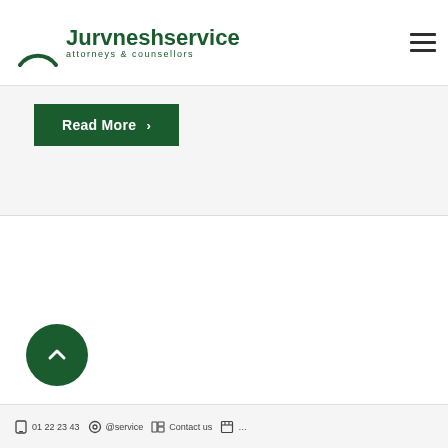Jurvneshservice attorneys & counsellors
[Figure (screenshot): Green Read More button with right arrow chevron on a light grey card section]
[Figure (illustration): Green circular scroll-to-top button with upward chevron arrow]
Footer bar with contact icons and text (phone number, email, location icons partially visible)